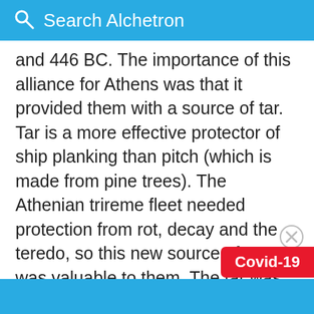Search Alchetron
and 446 BC. The importance of this alliance for Athens was that it provided them with a source of tar. Tar is a more effective protector of ship planking than pitch (which is made from pine trees). The Athenian trireme fleet needed protection from rot, decay and the teredo, so this new source of tar was valuable to them. The tar was dredged up from the bottom of a lake (now known as Lake Keri) using leafy myrtle branches tied to the ends of poles. It was then collected in pots and could be carried to the beach and swabbed directly onto ship hulls. Alternatively, the tar could be shipped to the Athenian naval yard at the Piraeus for sto...